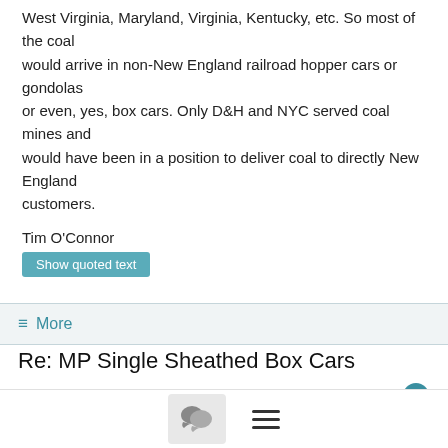West Virginia, Maryland, Virginia, Kentucky, etc. So most of the coal would arrive in non-New England railroad hopper cars or gondolas or even, yes, box cars. Only D&H and NYC served coal mines and would have been in a position to deliver coal to directly New England customers.
Tim O'Connor
Show quoted text
≡ More
Re: MP Single Sheathed Box Cars
buchwaldfam <duff@...>
7/10/07
Ed,